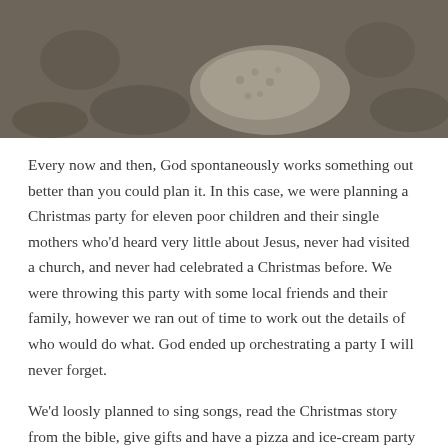[Figure (photo): Close-up photo of a textured grey/brown surface, possibly gravel or carpet, with a lighter spotted or dotted object partially visible.]
Every now and then, God spontaneously works something out better than you could plan it. In this case, we were planning a Christmas party for eleven poor children and their single mothers who'd heard very little about Jesus, never had visited a church, and never had celebrated a Christmas before. We were throwing this party with some local friends and their family, however we ran out of time to work out the details of who would do what. God ended up orchestrating a party I will never forget.
We'd loosly planned to sing songs, read the Christmas story from the bible, give gifts and have a pizza and ice-cream party (pizza is expensive here, and these families had never had it before, so this was a special treat).